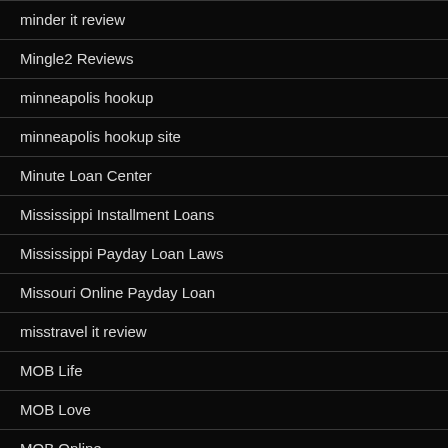minder it review
Mingle2 Reviews
minneapolis hookup
minneapolis hookup site
Minute Loan Center
Mississippi Installment Loans
Mississippi Payday Loan Laws
Missouri Online Payday Loan
misstravel it review
MOB Life
MOB Love
MOB Online